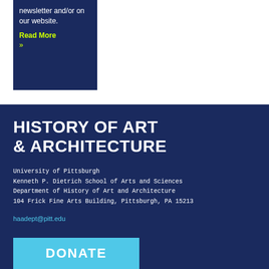newsletter and/or on our website.
Read More »
HISTORY OF ART & ARCHITECTURE
University of Pittsburgh
Kenneth P. Dietrich School of Arts and Sciences
Department of History of Art and Architecture
104 Frick Fine Arts Building, Pittsburgh, PA 15213
haadept@pitt.edu
DONATE